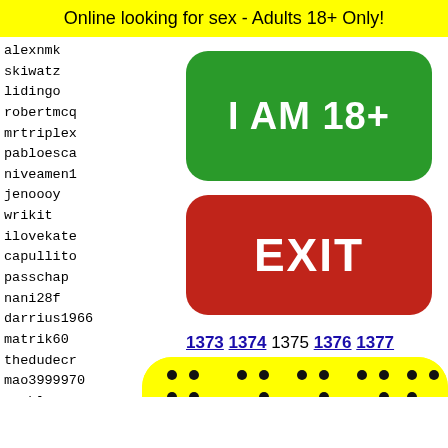Online looking for sex - Adults 18+ Only!
alexnmk
skiwatz
lidingo
robertmcq
mrtriplex
pabloesca
niveamen1
jenoooy
wrikit
ilovekate
capullito
passchap
nani28f
darrius1966
matrik60
thedudecr
mao3999970
wechlegang
frozenicetea
michel
slypus
jimmyg
klinx2
supers
deadpu
[Figure (other): Green button labeled I AM 18+]
[Figure (other): Red button labeled EXIT]
1373 1374 1375 1376 1377
[Figure (other): Snapchat ghost logo on yellow background with dot pattern and face silhouette]